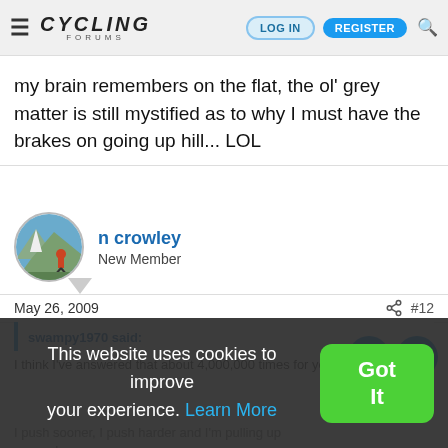Cycling Forums — LOG IN | REGISTER
my brain remembers on the flat, the ol' grey matter is still mystified as to why I must have the brakes on going up hill... LOL
n crowley
New Member
May 26, 2009  #12
swampy1970 said:
I think I've answered that about 4,000,000 times for you in
I push sooner, I push harder and I'm pulling up somewhere
This website uses cookies to improve your experience. Learn More